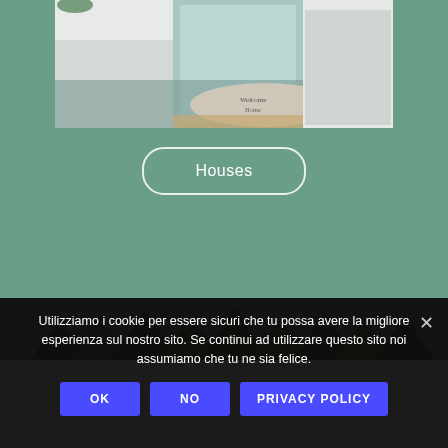[Figure (photo): Interior photo showing a home entryway with a welcome mat, white cabinets, and an open glass door]
Houses
[Figure (photo): Outdoor photo showing trees against a blue sky]
Utilizziamo i cookie per essere sicuri che tu possa avere la migliore esperienza sul nostro sito. Se continui ad utilizzare questo sito noi assumiamo che tu ne sia felice.
OK
NO
PRIVACY POLICY